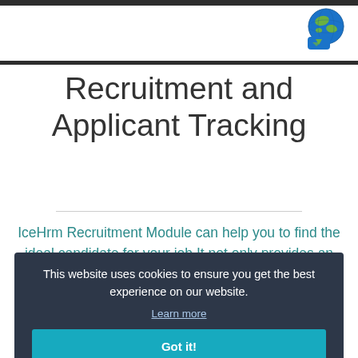[Figure (logo): Globe with speech bubble logo icon for IceHrm]
Recruitment and Applicant Tracking
IceHrm Recruitment Module can help you to find the ideal candidate for your job It not only provides an
This website uses cookies to ensure you get the best experience on our website.
Learn more
Got it!
[Figure (illustration): Partial colored icons at bottom representing recruitment/HR concepts]